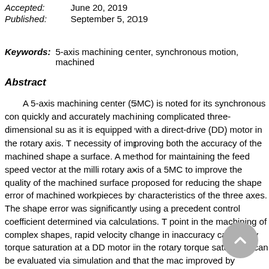Accepted: June 20, 2019
Published: September 5, 2019
Keywords: 5-axis machining center, synchronous motion, machined
Abstract
A 5-axis machining center (5MC) is noted for its synchronous con quickly and accurately machining complicated three-dimensional su as it is equipped with a direct-drive (DD) motor in the rotary axis. T necessity of improving both the accuracy of the machined shape a surface. A method for maintaining the feed speed vector at the milli rotary axis of a 5MC to improve the quality of the machined surface proposed for reducing the shape error of machined workpieces by characteristics of the three axes. The shape error was significantly using a precedent control coefficient determined via calculations. T point in the machining of complex shapes, rapid velocity change in inaccuracy caused by torque saturation at a DD motor in the rotary torque saturation can be evaluated via simulation and that the mac improved by accounting for these errors using the proposed prece